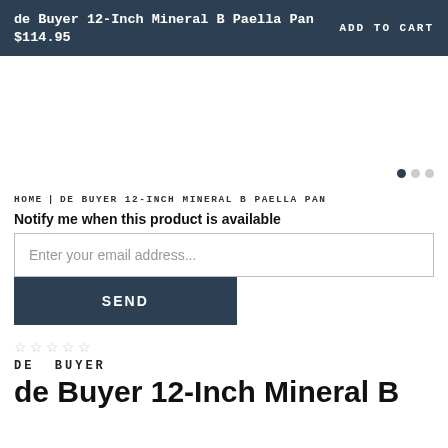de Buyer 12-Inch Mineral B Paella Pan $114.95 ADD TO CART
[Figure (other): Product image area (blank/white) with carousel dots indicator showing 3 dots, first active]
HOME | DE BUYER 12-INCH MINERAL B PAELLA PAN
Notify me when this product is available
Enter your email address...
SEND
☆☆☆☆☆
DE BUYER
de Buyer 12-Inch Mineral B